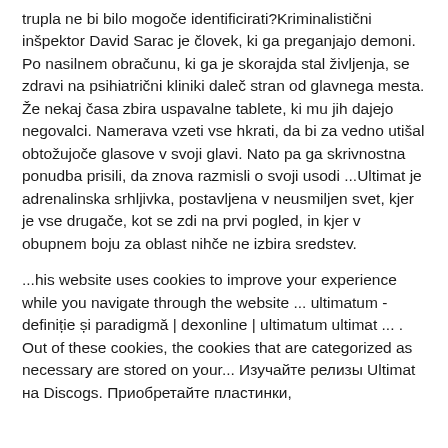trupla ne bi bilo mogoče identificirati?Kriminalistični inšpektor David Sarac je človek, ki ga preganjajo demoni. Po nasilnem obračunu, ki ga je skorajda stal življenja, se zdravi na psihiatrični kliniki daleč stran od glavnega mesta. Že nekaj časa zbira uspavalne tablete, ki mu jih dajejo negovalci. Namerava vzeti vse hkrati, da bi za vedno utišal obtožujoče glasove v svoji glavi. Nato pa ga skrivnostna ponudba prisili, da znova razmisli o svoji usodi ...Ultimat je adrenalinska srhljivka, postavljena v neusmiljen svet, kjer je vse drugače, kot se zdi na prvi pogled, in kjer v obupnem boju za oblast nihče ne izbira sredstev.
...his website uses cookies to improve your experience while you navigate through the website ... ultimatum - definiție și paradigmă | dexonline | ultimatum ultimat ... . Out of these cookies, the cookies that are categorized as necessary are stored on your... Изучайте релизы Ultimat на Discogs. Приобретайте пластинки,